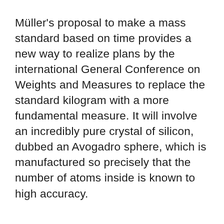Müller's proposal to make a mass standard based on time provides a new way to realize plans by the international General Conference on Weights and Measures to replace the standard kilogram with a more fundamental measure. It will involve an incredibly pure crystal of silicon, dubbed an Avogadro sphere, which is manufactured so precisely that the number of atoms inside is known to high accuracy.